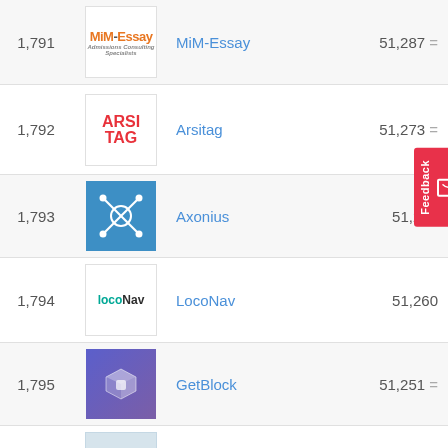| Rank | Logo | Name | Score |
| --- | --- | --- | --- |
| 1,791 | MiM-Essay logo | MiM-Essay | 51,287 = |
| 1,792 | Arsitag logo | Arsitag | 51,273 = |
| 1,793 | Axonius logo | Axonius | 51,266 |
| 1,794 | LocoNav logo | LocoNav | 51,260 |
| 1,795 | GetBlock logo | GetBlock | 51,251 = |
| 1,796 | Wedding Planner logo | Wedding Planner | 51,248 = |